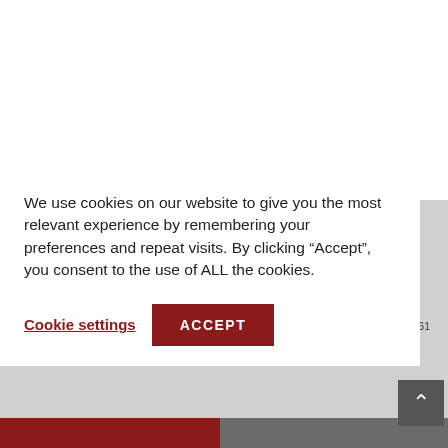[Figure (logo): Prothane Motion Control logo — oval shape with black swoosh, red bold PROTHANE text, smaller MOTION CONTROL text below]
Order Desk, Manufacturing, Shipping and Receiving
1761
We use cookies on our website to give you the most relevant experience by remembering your preferences and repeat visits. By clicking “Accept”, you consent to the use of ALL the cookies.
Cookie settings
ACCEPT